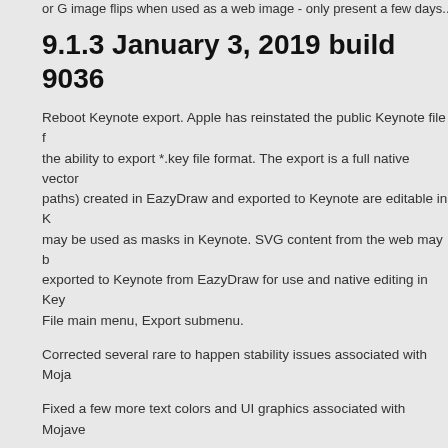or G image flips when used as a web image - only present a few days...
9.1.3 January 3, 2019 build 9036
Reboot Keynote export. Apple has reinstated the public Keynote file format giving EazyDraw the ability to export *.key file format. The export is a full native vector export. All objects (text, shapes, paths) created in EazyDraw and exported to Keynote are editable in Keynote. EazyDraw graphics may be used as masks in Keynote. SVG content from the web may be imported to EazyDraw and exported to Keynote from EazyDraw for use and native editing in Keynote. See EazyDraw File main menu, Export submenu.
Corrected several rare to happen stability issues associated with Mojave.
Fixed a few more text colors and UI graphics associated with Mojave.
Corrected a few SVG import issues.
Corrected the Spanish UI localization. The last version of EazyDraw had an issue with the parameter palettes Spanish translation, it was intermixed with Norwegian.
Fixed an issue with exported JPG images. These images were often stored in y-mirrored format. They would display properly natively on any Mac or iOS device. These images would be mirrored in a browser. The EazyDraw export for JPG was y-mirrored at the pixel level and is now stored as standard data image information. This assures proper y-axis orientation on all systems.
Fixed possible problems changing color or line width from the Attributes inspector when a tool is not in use.